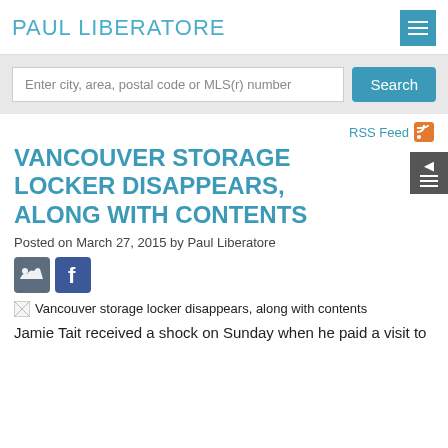PAUL LIBERATORE
Enter city, area, postal code or MLS(r) number
RSS Feed
VANCOUVER STORAGE LOCKER DISAPPEARS, ALONG WITH CONTENTS
Posted on March 27, 2015 by Paul Liberatore
[Figure (other): Twitter and Facebook social share icons]
[Figure (photo): Broken image placeholder: Vancouver storage locker disappears, along with contents]
Jamie Tait received a shock on Sunday when he paid a visit to